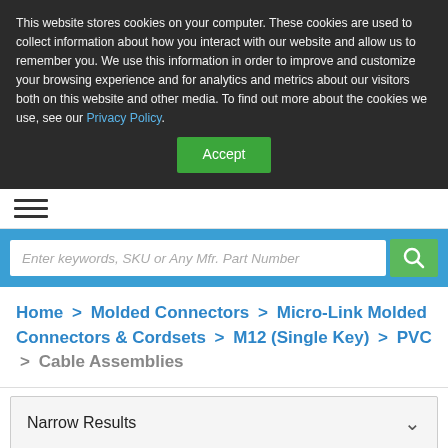This website stores cookies on your computer. These cookies are used to collect information about how you interact with our website and allow us to remember you. We use this information in order to improve and customize your browsing experience and for analytics and metrics about our visitors both on this website and other media. To find out more about the cookies we use, see our Privacy Policy.
Accept
[Figure (screenshot): Hamburger menu icon with three horizontal lines]
Enter keywords, SKU or Any Mfr. Part Number
Home > Molded Connectors > Micro-Link Molded Connectors & Cordsets > M12 (Single Key) > PVC > Cable Assemblies
Narrow Results